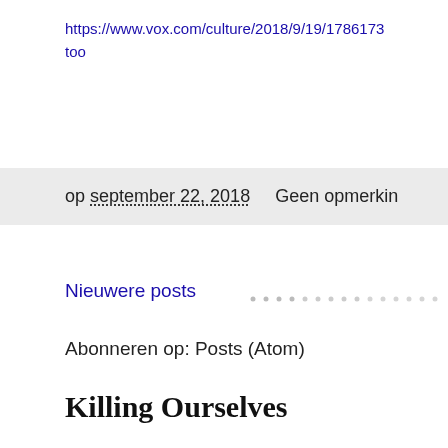https://www.vox.com/culture/2018/9/19/1786173 too
op september 22, 2018    Geen opmerking
Nieuwere posts
Abonneren op: Posts (Atom)
Killing Ourselves